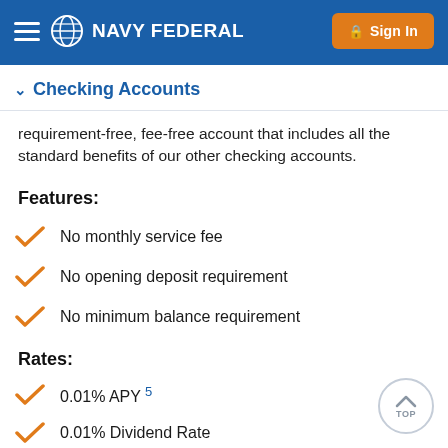NAVY FEDERAL — Sign In
Checking Accounts
requirement-free, fee-free account that includes all the standard benefits of our other checking accounts.
Features:
No monthly service fee
No opening deposit requirement
No minimum balance requirement
Rates:
0.01% APY 5
0.01% Dividend Rate